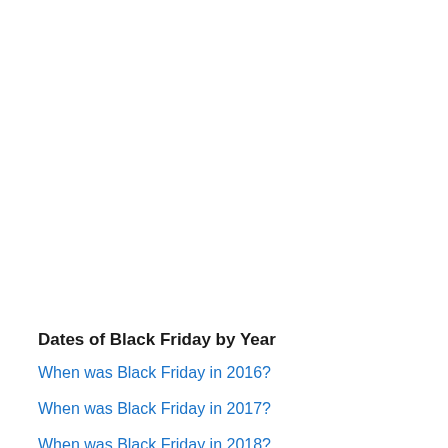Dates of Black Friday by Year
When was Black Friday in 2016?
When was Black Friday in 2017?
When was Black Friday in 2018?